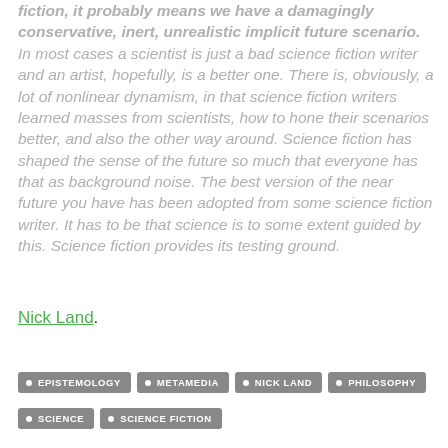fiction, it probably means we have a damagingly conservative, inert, unrealistic implicit future scenario. In most cases a scientist is just a bad science fiction writer and an artist, hopefully, is a better one. There is, obviously, a lot of nonlinear dynamism, in that science fiction writers learned masses from scientists, how to hone their scenarios better, and also the other way around. Science fiction has shaped the sense of the future so much that everyone has that as background noise. The best version of the near future you have has been adopted from some science fiction writer. It has to be that science is to some extent guided by this. Science fiction provides its testing ground.
Nick Land.
EPISTEMOLOGY
METAMEDIA
NICK LAND
PHILOSOPHY
SCIENCE
SCIENCE FICTION